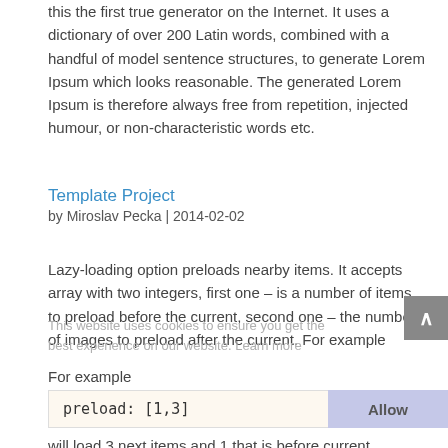this the first true generator on the Internet. It uses a dictionary of over 200 Latin words, combined with a handful of model sentence structures, to generate Lorem Ipsum which looks reasonable. The generated Lorem Ipsum is therefore always free from repetition, injected humour, or non-characteristic words etc.
Template Project
by Miroslav Pecka | 2014-02-02
Lazy-loading option preloads nearby items. It accepts array with two integers, first one – is a number of items to preload before the current, second one – the number of images to preload after the current. For example
preload: [1,3]
will load 3 next items and 1 that is before current.